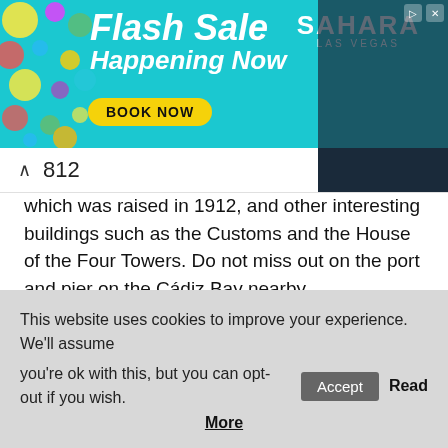[Figure (screenshot): Sahara Las Vegas Flash Sale advertisement banner with colorful decorative circles on left, teal background, Flash Sale Happening Now text, SAHARA LAS VEGAS logo, BOOK NOW button, dark image on right side]
812
which was raised in 1912, and other interesting buildings such as the Customs and the House of the Four Towers. Do not miss out on the port and pier on the Cádiz Bay nearby.
Oratorio de la Santa Cueva, which consists in two outstanding chapels, is considered to be a masterpiece of the neoclassical Gaditano, decorating with paintings by Francisco de Goya, Zacarias Gónzalez and others world renowned arts.
This website uses cookies to improve your experience. We'll assume you're ok with this, but you can opt-out if you wish. Accept Read More